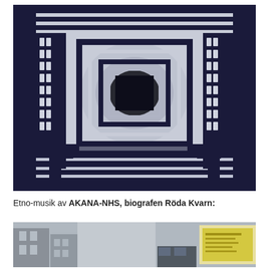[Figure (photo): Black and white batik or tie-dye textile art with concentric square patterns, stripes, and abstract designs. The fabric features alternating black and white geometric patterns with a central dark square motif.]
Etno-musik av AKANA-NHS, biografen Röda Kvarn:
[Figure (photo): Partial photo of a street scene with buildings and what appears to be a yellow sign or poster on the right side.]